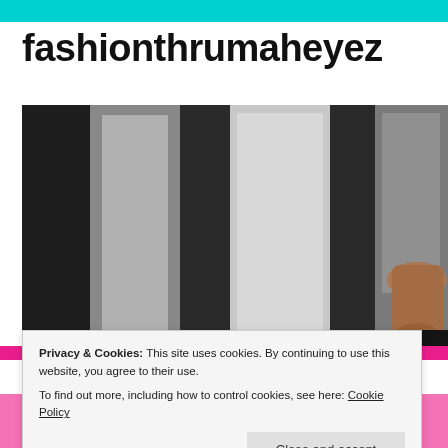fashionthrumaheyez
[Figure (photo): A dark-toned fashion/artistic photo showing what appears to be a figure behind vertical bars or columns, with light-colored panels between dark vertical elements. A person's legs/lower body visible at the right side.]
Privacy & Cookies: This site uses cookies. By continuing to use this website, you agree to their use.
To find out more, including how to control cookies, see here: Cookie Policy
Close and accept
Courage...Fight...Hope